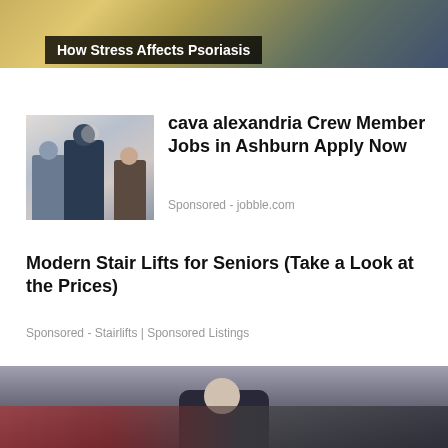[Figure (photo): Cropped top portion of a photo showing a person, partially visible, with warm yellow/orange and blue tones]
How Stress Affects Psoriasis
[Figure (photo): Photo of restaurant or hospitality staff: three people in professional attire standing together, smiling, in what appears to be a restaurant or event venue with hanging lights in background]
cava alexandria Crew Member Jobs in Ashburn Apply Now
Sponsored - jobble.com
Modern Stair Lifts for Seniors (Take a Look at the Prices)
Sponsored - Stairlifts | Sponsored Listings
[Figure (photo): Partially cropped bottom photo showing a person's head/face in a crowd with blurred red and dark background suggesting a sporting or public event]